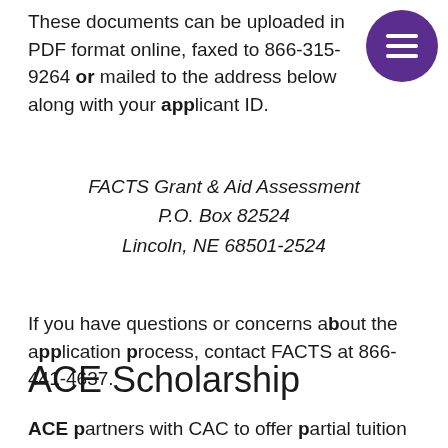These documents can be uploaded in PDF format online, faxed to 866-315-9264 or mailed to the address below along with your applicant ID.
FACTS Grant & Aid Assessment
P.O. Box 82524
Lincoln, NE 68501-2524
If you have questions or concerns about the application process, contact FACTS at 866-441-4637.
ACE Scholarship
ACE partners with CAC to offer partial tuition scholarships to students from low-income